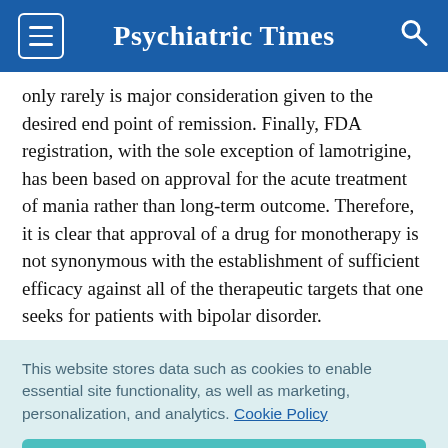Psychiatric Times
only rarely is major consideration given to the desired end point of remission. Finally, FDA registration, with the sole exception of lamotrigine, has been based on approval for the acute treatment of mania rather than long-term outcome. Therefore, it is clear that approval of a drug for monotherapy is not synonymous with the establishment of sufficient efficacy against all of the therapeutic targets that one seeks for patients with bipolar disorder.
This website stores data such as cookies to enable essential site functionality, as well as marketing, personalization, and analytics. Cookie Policy
Accept
Deny